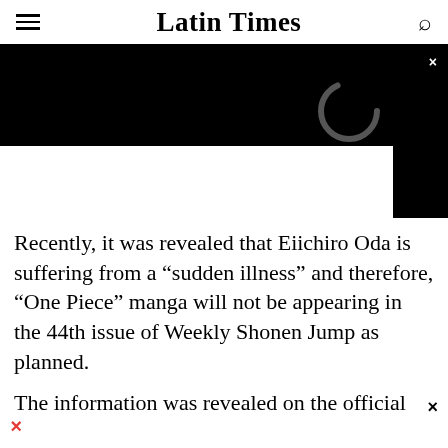Latin Times
[Figure (screenshot): Video player overlay with black background, loading spinner circle, and close X button in top-right corner]
Recently, it was revealed that Eiichiro Oda is suffering from a “sudden illness” and therefore, “One Piece” manga will not be appearing in the 44th issue of Weekly Shonen Jump as planned.
The information was revealed on the official